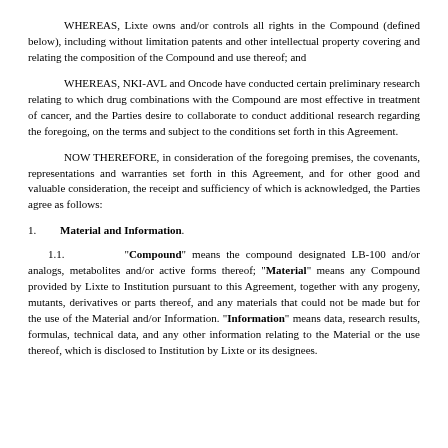WHEREAS, Lixte owns and/or controls all rights in the Compound (defined below), including without limitation patents and other intellectual property covering and relating the composition of the Compound and use thereof; and
WHEREAS, NKI-AVL and Oncode have conducted certain preliminary research relating to which drug combinations with the Compound are most effective in treatment of cancer, and the Parties desire to collaborate to conduct additional research regarding the foregoing, on the terms and subject to the conditions set forth in this Agreement.
NOW THEREFORE, in consideration of the foregoing premises, the covenants, representations and warranties set forth in this Agreement, and for other good and valuable consideration, the receipt and sufficiency of which is acknowledged, the Parties agree as follows:
1.    Material and Information.
1.1.    "Compound" means the compound designated LB-100 and/or analogs, metabolites and/or active forms thereof; "Material" means any Compound provided by Lixte to Institution pursuant to this Agreement, together with any progeny, mutants, derivatives or parts thereof, and any materials that could not be made but for the use of the Material and/or Information. "Information" means data, research results, formulas, technical data, and any other information relating to the Material or the use thereof, which is disclosed to Institution by Lixte or its designees.